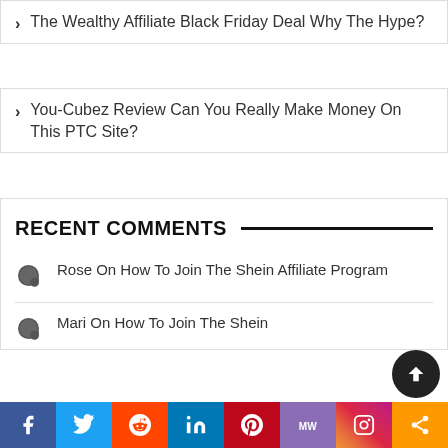The Wealthy Affiliate Black Friday Deal Why The Hype?
You-Cubez Review Can You Really Make Money On This PTC Site?
RECENT COMMENTS
Rose On How To Join The Shein Affiliate Program
Mari On How To Join The Shein
Social share bar: Facebook, Twitter, Reddit, LinkedIn, Pinterest, MW, Instagram, Share